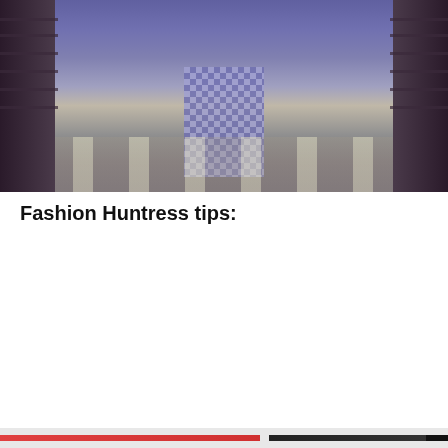[Figure (photo): Person standing in a hallway or library/server room corridor, wearing plaid/checked trousers and a blue shirt, photographed from mid-torso down. The floor has light reflections.]
Fashion Huntress tips:
Privacy & Cookies: This site uses cookies. By continuing to use this website, you agree to their use.
To find out more, including how to control cookies, see here: Cookie Policy
Close and accept